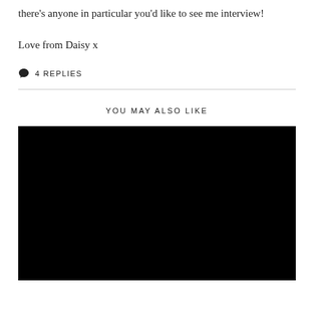there's anyone in particular you'd like to see me interview!
Love from Daisy x
💬 4 REPLIES
YOU MAY ALSO LIKE
[Figure (photo): Large black rectangular image, likely a video thumbnail or photo placeholder]